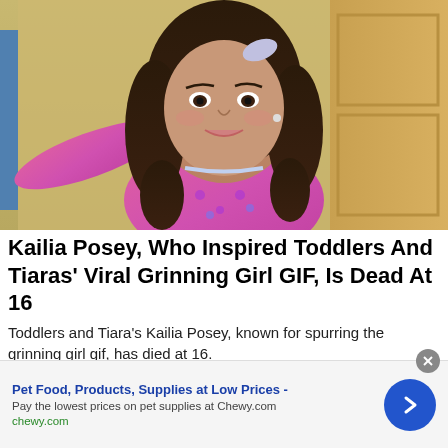[Figure (photo): Young girl with curly brown hair wearing a pink patterned jacket, reaching her arm out, photographed outdoors against a yellow wall and door]
Kailia Posey, Who Inspired Toddlers And Tiaras' Viral Grinning Girl GIF, Is Dead At 16
Toddlers and Tiara's Kailia Posey, known for spurring the grinning girl gif, has died at 16.
Pet Food, Products, Supplies at Low Prices - Pay the lowest prices on pet supplies at Chewy.com chewy.com